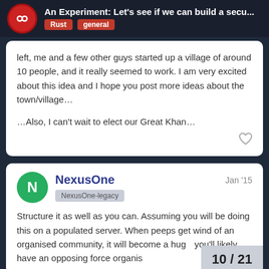An Experiment: Let's see if we can build a secu... | Rust | general
left, me and a few other guys started up a village of around 10 people, and it really seemed to work. I am very excited about this idea and I hope you post more ideas about the town/village...

...Also, I can't wait to elect our Great Khan...
NexusOne — Jan '15 — NexusOne-legacy

Structure it as well as you can. Assuming you will be doing this on a populated server. When peeps get wind of an organised community, it will become a hug... you'll likely have an opposing force organis...
10 / 21